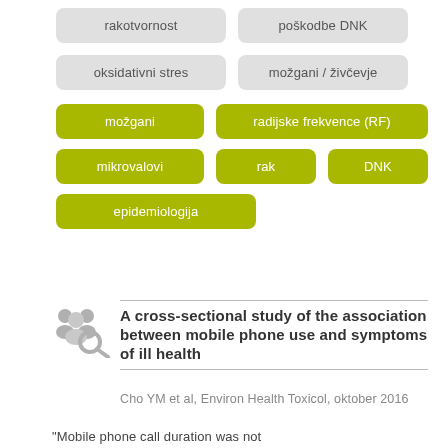[Figure (infographic): Tag cloud with Slovenian medical keywords. Two gray tags: 'rakotvornost' and 'poškodbe DNK'. Two gray tags: 'oksidativni stres' and 'možgani / živčevje'. Green tags: 'možgani', 'radijske frekvence (RF)', 'mikrovalovi', 'rak', 'DNK', 'epidemiologija'.]
[Figure (illustration): Gray icon of group of people with a magnifying glass, representing a cross-sectional study.]
A cross-sectional study of the association between mobile phone use and symptoms of ill health
Cho YM et al, Environ Health Toxicol, oktober 2016
"Mobile phone call duration was not